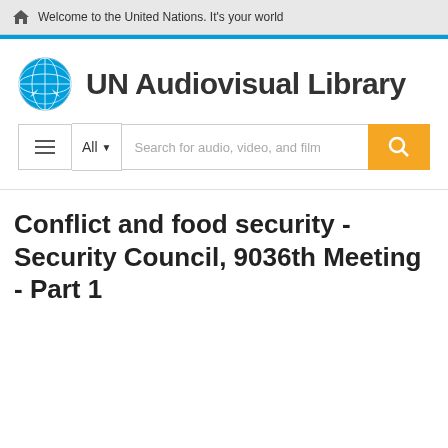Welcome to the United Nations. It's your world
[Figure (logo): UN Audiovisual Library logo with UN globe emblem]
Conflict and food security - Security Council, 9036th Meeting - Part 1